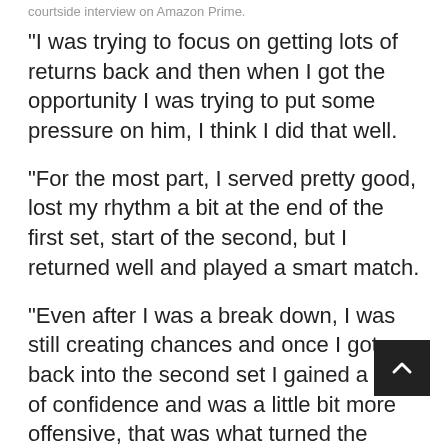courtside interview on Amazon Prime.
“I was trying to focus on getting lots of returns back and then when I got the opportunity I was trying to put some pressure on him, I think I did that well.
“For the most part, I served pretty good, lost my rhythm a bit at the end of the first set, start of the second, but I returned well and played a smart match.
“Even after I was a break down, I was still creating chances and once I got back into the second set I gained a bit of confidence and was a little bit more offensive, that was what turned the match for me.”
Murray, runner-up in Metz in 2007, will next face either Polish top seed Hubert Hurkacz, the wo No 13, or Frenchman Lucas Pouille.
“For...